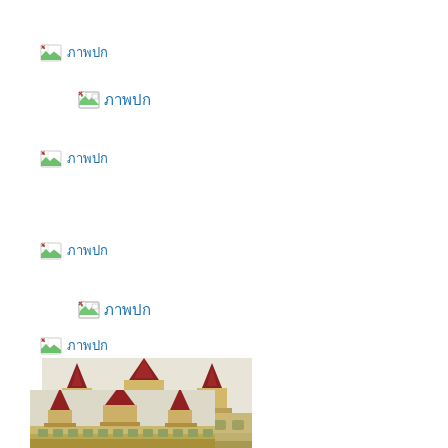[Figure (other): Broken image placeholder with Thai text 'ภาพปก' (cover image) - first instance]
[Figure (other): Broken image placeholder with Thai text 'ภาพปก' (cover image) - second instance]
[Figure (other): Broken image placeholder with Thai text 'ภาพปก' (cover image) - third instance]
[Figure (other): Broken image placeholder with Thai text 'ภาพปก' (cover image) - fourth instance]
[Figure (photo): Photograph of a Thai temple with red and gold tiered spires/towers, partially visible at bottom of page]